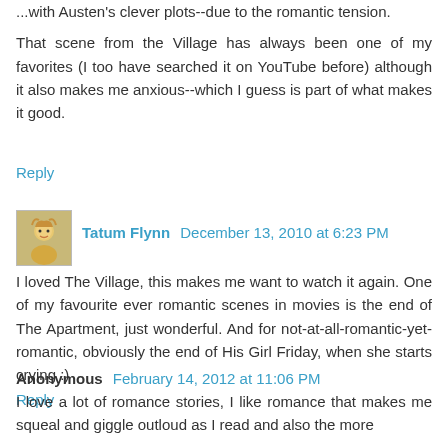...with Austen's clever plots--due to the romantic tension. That scene from the Village has always been one of my favorites (I too have searched it on YouTube before) although it also makes me anxious--which I guess is part of what makes it good.
Reply
Tatum Flynn  December 13, 2010 at 6:23 PM
I loved The Village, this makes me want to watch it again. One of my favourite ever romantic scenes in movies is the end of The Apartment, just wonderful. And for not-at-all-romantic-yet-romantic, obviously the end of His Girl Friday, when she starts crying :)
Reply
Anonymous  February 14, 2012 at 11:06 PM
I love a lot of romance stories, I like romance that makes me squeal and giggle outloud as I read and also the more